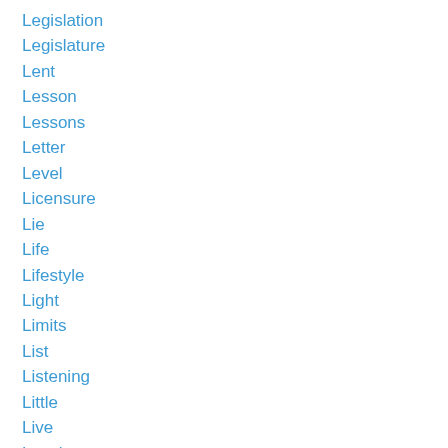Legislation
Legislature
Lent
Lesson
Lessons
Letter
Level
Licensure
Lie
Life
Lifestyle
Light
Limits
List
Listening
Little
Live
Local
Logic
Lonely
Long